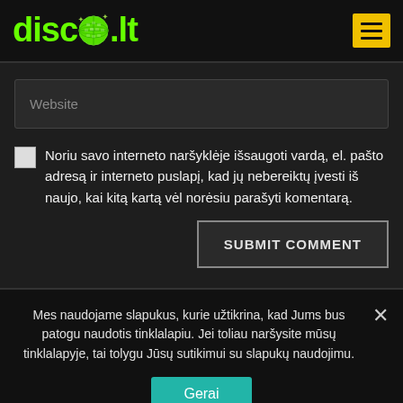[Figure (logo): disco.lt logo with green text and disco ball replacing the 'o', on dark background with yellow hamburger menu icon top right]
Website
Noriu savo interneto naršyklėje išsaugoti vardą, el. pašto adresą ir interneto puslapį, kad jų nebereiktų įvesti iš naujo, kai kitą kartą vėl norėsiu parašyti komentarą.
SUBMIT COMMENT
Mes naudojame slapukus, kurie užtikrina, kad Jums bus patogu naudotis tinklalapiu. Jei toliau naršysite mūsų tinklalapyje, tai tolygu Jūsų sutikimui su slapukų naudojimu.
Gerai